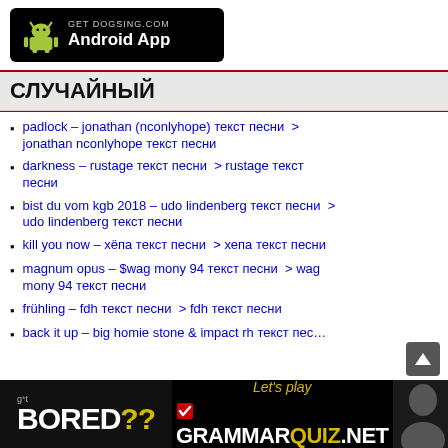[Figure (logo): Android App banner for GET DOGSING.COM Android App on black background]
СЛУЧАЙНЫЙ
padlock – jonathan (nconlyhope) текст песни  > jonathan nconlyhope текст песни
darkness – rustage текст песни  > rustage текст песни
bist du vom kgb 2018 – udo lindenberg текст песни  > udo lindenberg текст песни
kill you now – хёпа текст песни  > хепа текст песни
magnum opus – $wag mony 94 текст песни  > wag mony 94 текст песни
frühling – fdh текст песни  > fdh текст песни
back it up – big homie stone & impact rh текст пес…
[Figure (infographic): Bottom advertisement banner: 'Got BORED?? Let's play GRAMMARQUIZ.NET' with photo of person on right]